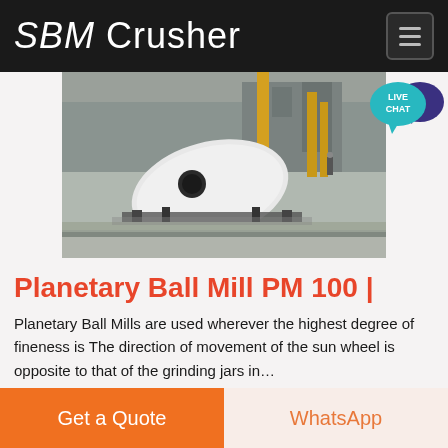SBM Crusher
[Figure (photo): Industrial factory floor with a large white machine/ball mill on steel supports, yellow columns, industrial building structures in background]
[Figure (infographic): Live Chat badge — teal speech bubble with 'LIVE CHAT' text and dark blue chat bubble icon]
Planetary Ball Mill PM 100 |
Planetary Ball Mills are used wherever the highest degree of fineness is The direction of movement of the sun wheel is opposite to that of the grinding jars in…
Get a Quote | WhatsApp